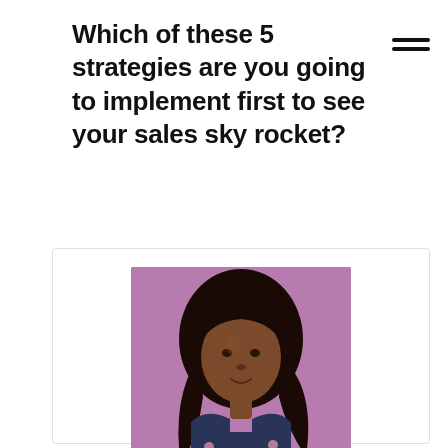Which of these 5 strategies are you going to implement first to see your sales sky rocket?
[Figure (photo): Headshot of a young Black woman with long dark hair, wearing a floral top, photographed against a purple background, displayed inside a white card with border]